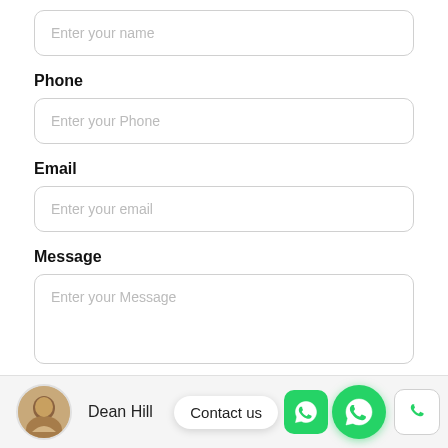Enter your name
Phone
Enter your Phone
Email
Enter your email
Message
Enter your Message
Dean Hill
Contact us